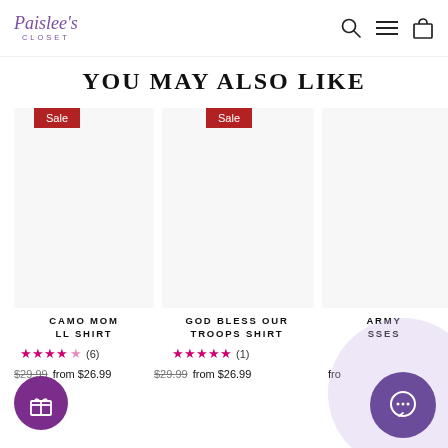[Figure (logo): Paislee's Closet logo in purple script with 'CLOSET' in small caps below]
YOU MAY ALSO LIKE
[Figure (other): Sale badge (red) over product image area for Camo Mom shirt]
[Figure (other): Product image placeholder white/grey for Camo Mom shirt]
CAMO MOM LL SHIRT
★★★★☆ (6)
$29.99  from $26.99
[Figure (other): Sale badge (red) over product image area for God Bless Our Troops shirt]
[Figure (other): Product image placeholder white/grey for God Bless Our Troops shirt]
GOD BLESS OUR TROOPS SHIRT
★★★★★ (1)
$29.99  from $26.99
ARMY SSES
fro